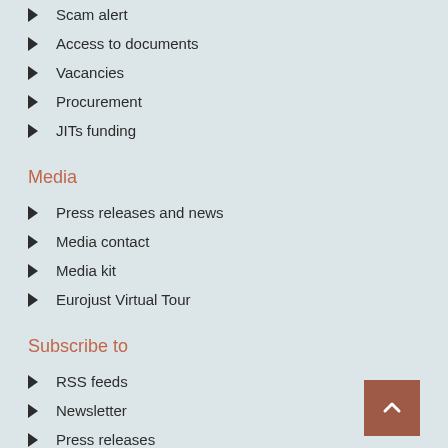Scam alert
Access to documents
Vacancies
Procurement
JITs funding
Media
Press releases and news
Media contact
Media kit
Eurojust Virtual Tour
Subscribe to
RSS feeds
Newsletter
Press releases
Follow us on
Twitter